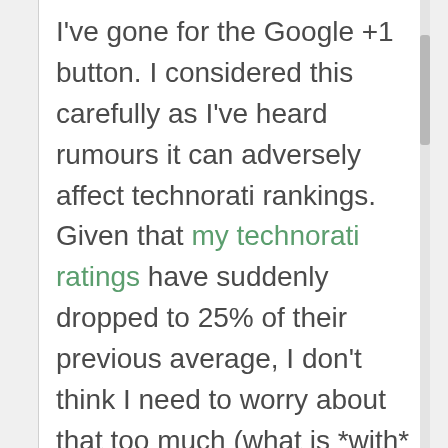I've gone for the Google +1 button. I considered this carefully as I've heard rumours it can adversely affect technorati rankings. Given that my technorati ratings have suddenly dropped to 25% of their previous average, I don't think I need to worry about that too much (what is *with*
We use cookies to optimise our website and our service.
Accept
Dismiss
Preferences